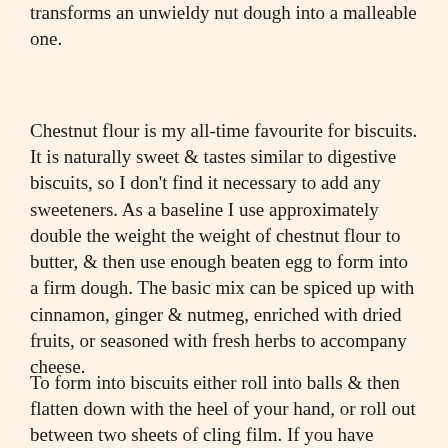transforms an unwieldy nut dough into a malleable one.
Chestnut flour is my all-time favourite for biscuits. It is naturally sweet & tastes similar to digestive biscuits, so I don't find it necessary to add any sweeteners. As a baseline I use approximately double the weight the weight of chestnut flour to butter, & then use enough beaten egg to form into a firm dough. The basic mix can be spiced up with cinnamon, ginger & nutmeg, enriched with dried fruits, or seasoned with fresh herbs to accompany cheese.
To form into biscuits either roll into balls & then flatten down with the heel of your hand, or roll out between two sheets of cling film. If you have